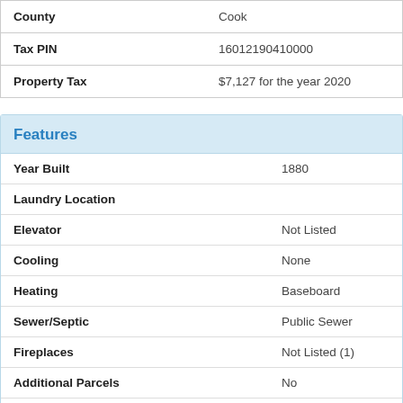| Field | Value |
| --- | --- |
| County | Cook |
| Tax PIN | 16012190410000 |
| Property Tax | $7,127 for the year 2020 |
Features
| Feature | Value |
| --- | --- |
| Year Built | 1880 |
| Laundry Location |  |
| Elevator | Not Listed |
| Cooling | None |
| Heating | Baseboard |
| Sewer/Septic | Public Sewer |
| Fireplaces | Not Listed (1) |
| Additional Parcels | No |
| Association Fee Type | Not Listed |